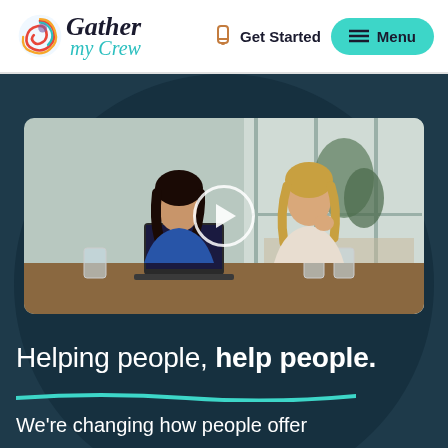Gather my Crew — Get Started — Menu
[Figure (screenshot): Video thumbnail showing two women sitting at a table with a laptop, in a bright home setting. A white play button circle is overlaid in the center.]
Helping people, help people.
We're changing how people offer